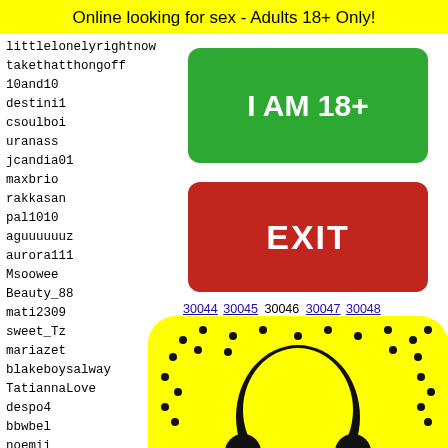Online looking for sex - Adults 18+ Only!
littlelonelyrightnow
takethatthongoff
10and10
destini1
csoulboi
uranass
jcandia01
maxbrio
rakkasan
pal1010
aguuuuuuz
aurora111
Msoowee
Beauty_88
mati2309
sweet_Tz
mariazet
blakeboysalway
TatiannaLove
despo4
bbwbel
noemii
selena
cangel
x_divi
[Figure (infographic): Green button labeled I AM 18+ and red button labeled EXIT]
30044 30045 30046 30047 30048
[Figure (photo): Snapchat ghost icon on yellow background]